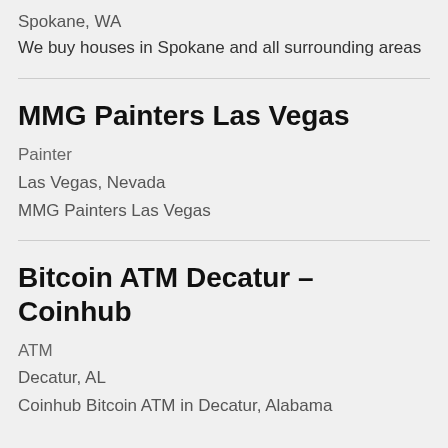Spokane, WA
We buy houses in Spokane and all surrounding areas
MMG Painters Las Vegas
Painter
Las Vegas, Nevada
MMG Painters Las Vegas
Bitcoin ATM Decatur – Coinhub
ATM
Decatur, AL
Coinhub Bitcoin ATM in Decatur, Alabama